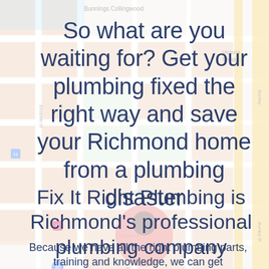[Figure (map): Google Maps style street map showing Richmond area with roads, blocks, and a red location pin marker. Street names visible include Elizabeth St, Baker St, Burnley St, and areas including Bunnings Collingwood and Victoria Shopping centre.]
So what are you waiting for? Get your plumbing fixed the right way and save your Richmond home from a plumbing disaster
Fix It Right Plumbing is Richmond's professional plumbing company
Because we have all the right plumbing parts, training and knowledge, we can get